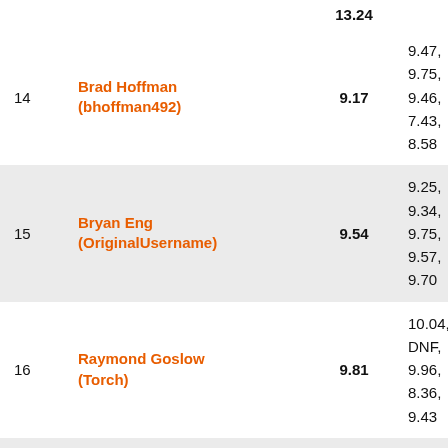| Rank | Name (Username) | Average | Times |
| --- | --- | --- | --- |
|  |  | 13.24 |  |
| 14 | Brad Hoffman (bhoffman492) | 9.17 | 9.47,
9.75,
9.46,
7.43,
8.58 |
| 15 | Bryan Eng (OriginalUsername) | 9.54 | 9.25,
9.34,
9.75,
9.57,
9.70 |
| 16 | Raymond Goslow (Torch) | 9.81 | 10.04,
DNF,
9.96,
8.36,
9.43 |
| 17 | Joel Cetra (JoXCuber) | 9.86 | 9.47,
10.76,
9.40,
10.25,
9.87 |